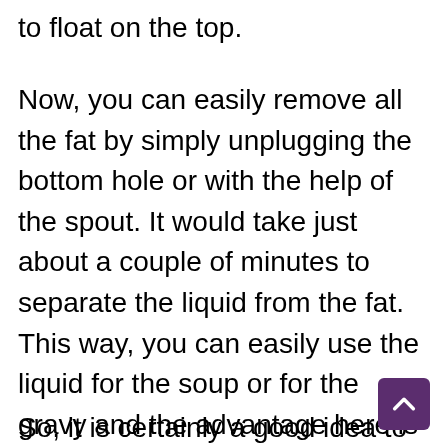to float on the top.
Now, you can easily remove all the fat by simply unplugging the bottom hole or with the help of the spout. It would take just about a couple of minutes to separate the liquid from the fat. This way, you can easily use the liquid for the soup or for the gravy and the advantage here is that the liquid is now much healthier since it has no parts of fat in it. In addition to this, you can now dispose the fat in an easy manner which is actually recommended. The liquid won't clog your sink anymore if you use a fat separator
So, it is certainly a good idea to use a fat